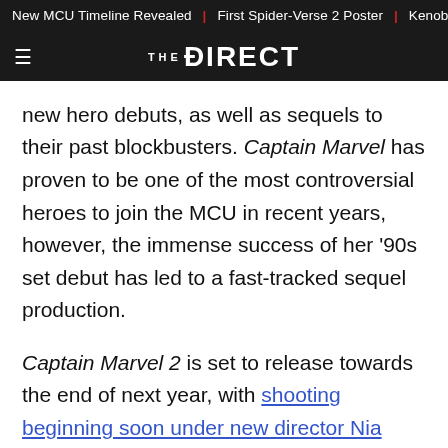New MCU Timeline Revealed | First Spider-Verse 2 Poster | Kenob
THE DIRECT
new hero debuts, as well as sequels to their past blockbusters. Captain Marvel has proven to be one of the most controversial heroes to join the MCU in recent years, however, the immense success of her '90s set debut has led to a fast-tracked sequel production.
Captain Marvel 2 is set to release towards the end of next year, with shooting beginning soon under new director Nia DaCosta . Aside from several casting calls, and various actors joining the production , fans have largely been kept in the dark regarding the film's storyline.